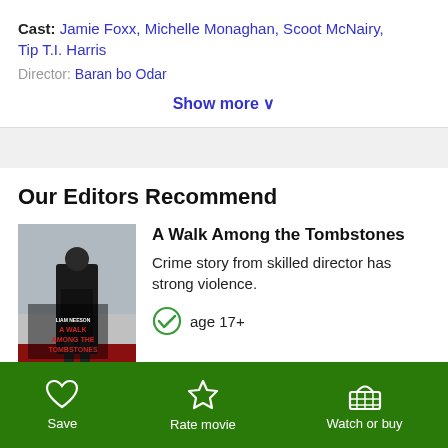Cast: Jamie Foxx, Michelle Monaghan, Scoot McNairy, Tip T.I. Harris
Director: Baran bo Odar
Show more
Our Editors Recommend
[Figure (photo): Movie poster for A Walk Among the Tombstones featuring Liam Neeson in a dark coat]
A Walk Among the Tombstones
Crime story from skilled director has strong violence.
age 17+
Save   Rate movie   Watch or buy